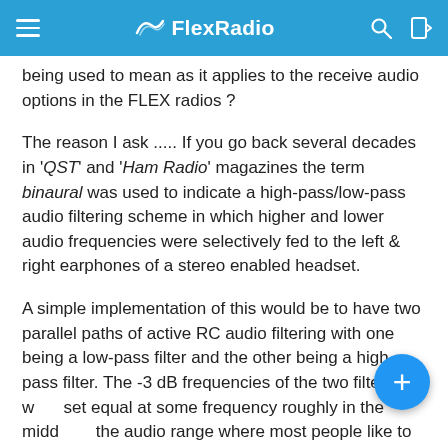FlexRadio
being used to mean as it applies to the receive audio options in the FLEX radios ?
The reason I ask ..... If you go back several decades in 'QST' and 'Ham Radio' magazines the term binaural was used to indicate a high-pass/low-pass audio filtering scheme in which higher and lower audio frequencies were selectively fed to the left & right earphones of a stereo enabled headset.
A simple implementation of this would be to have two parallel paths of active RC audio filtering with one being a low-pass filter and the other being a high-pass filter. The -3 dB frequencies of the two filters were set equal at some frequency roughly in the middle of the audio range where most people like to listen to CW tones (say 700 Hz) and, with the same monaural